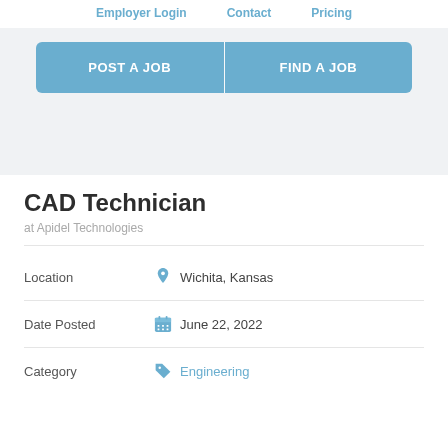Employer Login   Contact   Pricing
POST A JOB   FIND A JOB
CAD Technician
at Apidel Technologies
Location   Wichita, Kansas
Date Posted   June 22, 2022
Category   Engineering